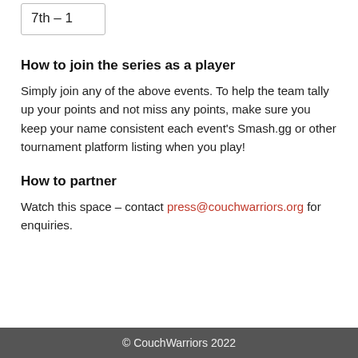| 7th – 1 |
How to join the series as a player
Simply join any of the above events. To help the team tally up your points and not miss any points, make sure you keep your name consistent each event's Smash.gg or other tournament platform listing when you play!
How to partner
Watch this space – contact press@couchwarriors.org for enquiries.
© CouchWarriors 2022